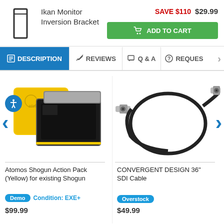[Figure (photo): Ikan Monitor Inversion Bracket product image - outline of a bracket shape]
Ikan Monitor Inversion Bracket
SAVE $110  $29.99
ADD TO CART
DESCRIPTION  REVIEWS  Q & A  REQUES
[Figure (photo): Atomos Shogun Action Pack (Yellow) for existing Shogun - yellow carry case with monitor inside]
Atomos Shogun Action Pack (Yellow) for existing Shogun
Demo  Condition: EXE+
$99.99
[Figure (photo): CONVERGENT DESIGN 36 inch SDI Cable - black circular cable with BNC connectors]
CONVERGENT DESIGN 36" SDI Cable
Overstock
$49.99